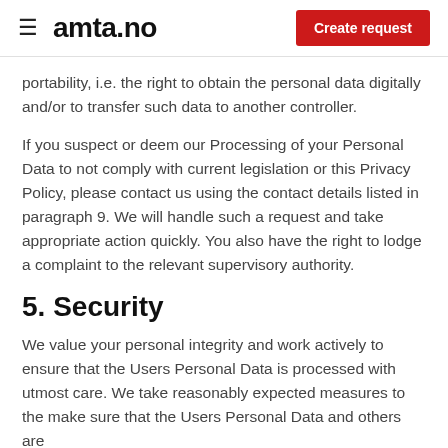amta.no | Create request
portability, i.e. the right to obtain the personal data digitally and/or to transfer such data to another controller.
If you suspect or deem our Processing of your Personal Data to not comply with current legislation or this Privacy Policy, please contact us using the contact details listed in paragraph 9. We will handle such a request and take appropriate action quickly. You also have the right to lodge a complaint to the relevant supervisory authority.
5. Security
We value your personal integrity and work actively to ensure that the Users Personal Data is processed with utmost care. We take reasonably expected measures to the make sure that the Users Personal Data and others are